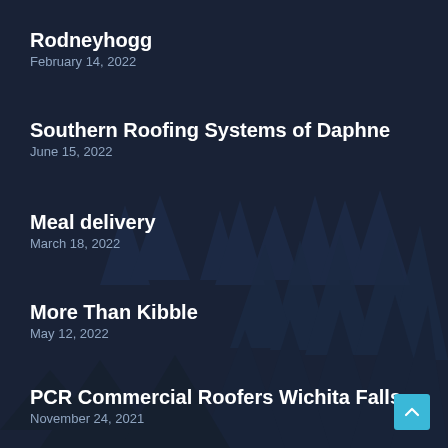Rodneyhogg
February 14, 2022
Southern Roofing Systems of Daphne
June 15, 2022
Meal delivery
March 18, 2022
More Than Kibble
May 12, 2022
PCR Commercial Roofers Wichita Falls
November 24, 2021